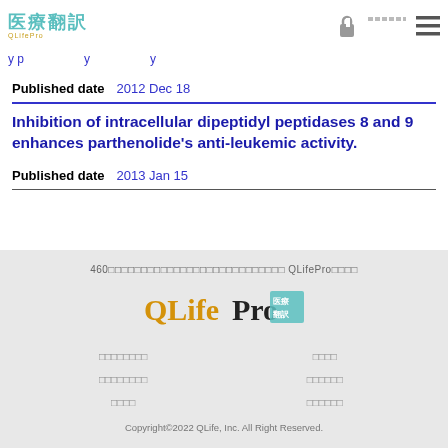医療翻訳 QLifePro
y p ... y ... y
Published date   2012 Dec 18
Inhibition of intracellular dipeptidyl peptidases 8 and 9 enhances parthenolide's anti-leukemic activity.
Published date   2013 Jan 15
460□□□□□□□□□□□□□□□□□□□□□□□□□□□ QLifePro□□□□
QLife Pro 医療翻訳
□□□□□□□□  □□□□
□□□□□□□□  □□□□□□
□□□□  □□□□□□
Copyright©2022 QLife, Inc. All Right Reserved.